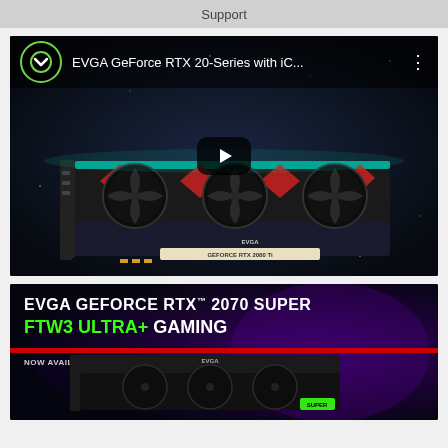Support
[Figure (screenshot): YouTube video thumbnail showing EVGA GeForce RTX 20-Series with iCX graphics card on dark background, with play button overlay. Video title: 'EVGA GeForce RTX 20-Series with iC...']
[Figure (screenshot): EVGA advertisement banner: 'EVGA GEFORCE RTX 2070 SUPER FTW3 ULTRA+ GAMING. NOW AVAILABLE WITH 15.5 GHz MEMORY 10%+ MEMORY SPEED' with EVGA card image on dark purple/black background]